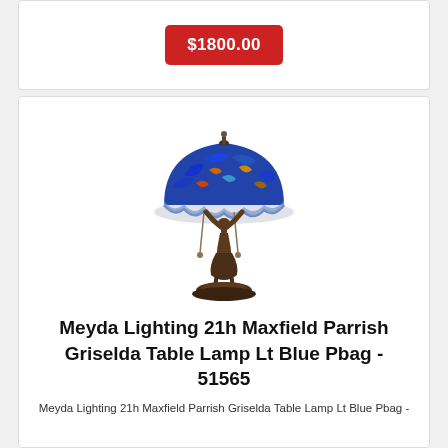$1800.00
[Figure (photo): Meyda Lighting 21h Maxfield Parrish Griselda Table Lamp with stained glass blue dome shade and bronze figurine base of a woman holding up the shade]
Meyda Lighting 21h Maxfield Parrish Griselda Table Lamp Lt Blue Pbag - 51565
Meyda Lighting 21h Maxfield Parrish Griselda Table Lamp Lt Blue Pbag -